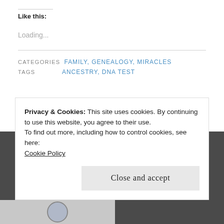Like this:
Loading...
CATEGORIES  FAMILY, GENEALOGY, MIRACLES
TAGS  ANCESTRY, DNA TEST
Privacy & Cookies: This site uses cookies. By continuing to use this website, you agree to their use.
To find out more, including how to control cookies, see here:
Cookie Policy
Close and accept